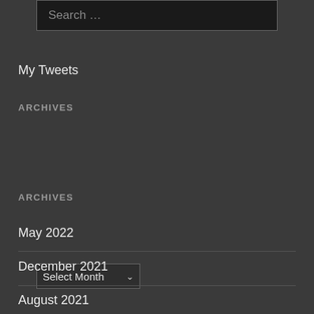Search ...
My Tweets
ARCHIVES
[Figure (screenshot): Dropdown select box with 'Select Month' and a down arrow]
ARCHIVES
May 2022
December 2021
August 2021